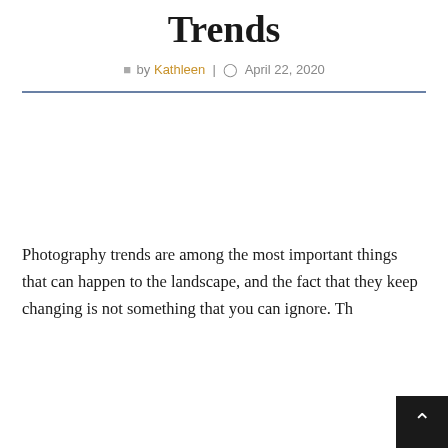Trends
by Kathleen | April 22, 2020
Photography trends are among the most important things that can happen to the landscape, and the fact that they keep changing is not something that you can ignore. Th